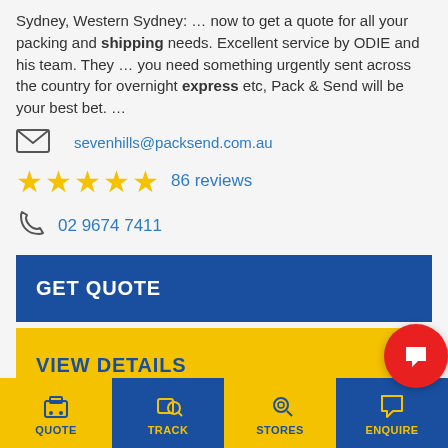Sydney, Western Sydney: … now to get a quote for all your packing and shipping needs. Excellent service by ODIE and his team. They … you need something urgently sent across the country for overnight express etc, Pack & Send will be your best bet. …
sevenhills@packsend.com.au
86 reviews
02 9674 7411
GET QUOTE
VIEW DETAILS
PACK & SEND Campbelltown
43A Queen Street, CAMPBELLTOWN,
QUOTE  TRACK  STORES  ENQUIRE